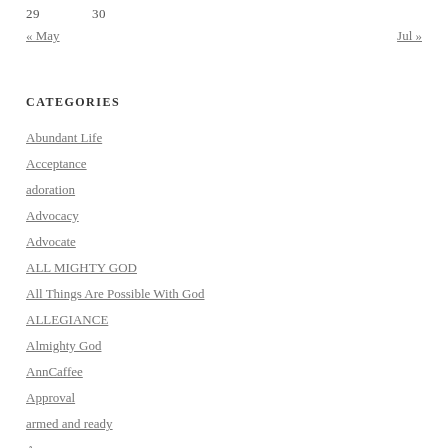29    30
« May    Jul »
CATEGORIES
Abundant Life
Acceptance
adoration
Advocacy
Advocate
ALL MIGHTY GOD
All Things Are Possible With God
ALLEGIANCE
Almighty God
AnnCaffee
Approval
armed and ready
Assurance